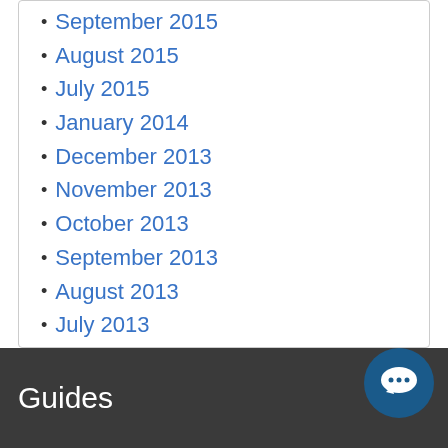September 2015
August 2015
July 2015
January 2014
December 2013
November 2013
October 2013
September 2013
August 2013
July 2013
June 2013
May 2013
April 2013
March 2013
Guides